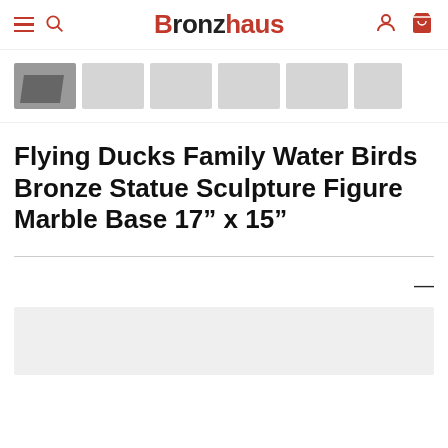Bronzhaus
[Figure (photo): Thumbnail strip showing product images, first thumbnail shows a bronze duck sculpture on marble base, remaining thumbnails are gray placeholders]
Flying Ducks Family Water Birds Bronze Statue Sculpture Figure Marble Base 17” x 15”
[Figure (other): Gray placeholder box for product description or additional content section]